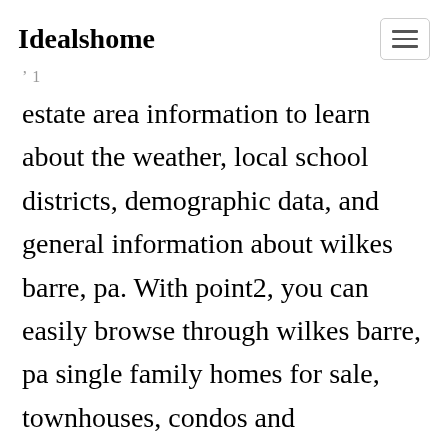Idealshome
estate area information to learn about the weather, local school districts, demographic data, and general information about wilkes barre, pa. With point2, you can easily browse through wilkes barre, pa single family homes for sale, townhouses, condos and commercial properties, and quickly get a general perspective on the real estate prices. 7 new and used mobile homes in wilkes barre, pa. Get in touch with